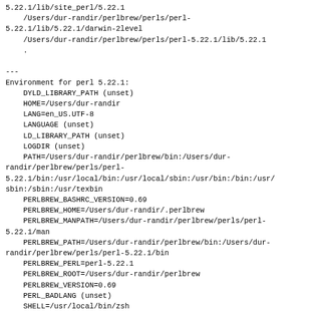5.22.1/lib/site_perl/5.22.1
    /Users/dur-randir/perlbrew/perls/perl-5.22.1/lib/5.22.1/darwin-2level
    /Users/dur-randir/perlbrew/perls/perl-5.22.1/lib/5.22.1
    .

---
Environment for perl 5.22.1:
    DYLD_LIBRARY_PATH (unset)
    HOME=/Users/dur-randir
    LANG=en_US.UTF-8
    LANGUAGE (unset)
    LD_LIBRARY_PATH (unset)
    LOGDIR (unset)
    PATH=/Users/dur-randir/perlbrew/bin:/Users/dur-randir/perlbrew/perls/perl-5.22.1/bin:/usr/local/bin:/usr/local/sbin:/usr/bin:/bin:/usr/sbin:/sbin:/usr/texbin
    PERLBREW_BASHRC_VERSION=0.69
    PERLBREW_HOME=/Users/dur-randir/.perlbrew
    PERLBREW_MANPATH=/Users/dur-randir/perlbrew/perls/perl-5.22.1/man
    PERLBREW_PATH=/Users/dur-randir/perlbrew/bin:/Users/dur-randir/perlbrew/perls/perl-5.22.1/bin
    PERLBREW_PERL=perl-5.22.1
    PERLBREW_ROOT=/Users/dur-randir/perlbrew
    PERLBREW_VERSION=0.69
    PERL_BADLANG (unset)
    SHELL=/usr/local/bin/zsh
Thread Previous